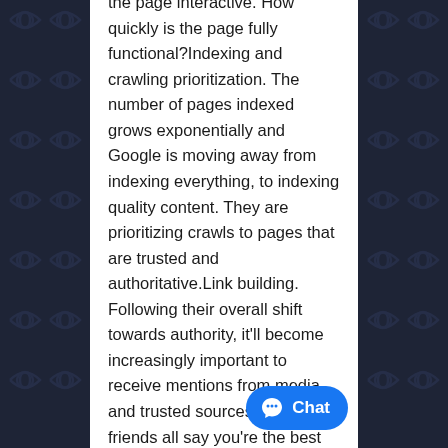the page interactive. How quickly is the page fully functional?Indexing and crawling prioritization. The number of pages indexed grows exponentially and Google is moving away from indexing everything, to indexing quality content. They are prioritizing crawls to pages that are trusted and authoritative.Link building. Following their overall shift towards authority, it'll become increasingly important to receive mentions from media and trusted sources. If your friends all say you're the best chef, everyone knows this can be biased. However, if people that don't know you say you're the best chef, this has more weight and value. Focus especially on gaining authoritative links that your